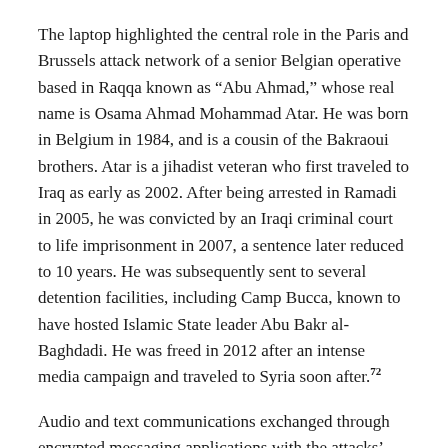The laptop highlighted the central role in the Paris and Brussels attack network of a senior Belgian operative based in Raqqa known as “Abu Ahmad,” whose real name is Osama Ahmad Mohammad Atar. He was born in Belgium in 1984, and is a cousin of the Bakraoui brothers. Atar is a jihadist veteran who first traveled to Iraq as early as 2002. After being arrested in Ramadi in 2005, he was convicted by an Iraqi criminal court to life imprisonment in 2007, a sentence later reduced to 10 years. He was subsequently sent to several detention facilities, including Camp Bucca, known to have hosted Islamic State leader Abu Bakr al-Baghdadi. He was freed in 2012 after an intense media campaign and traveled to Syria soon after.72
Audio and text communications exchanged through encrypted messaging applications with the attacks’ bomb maker, Laachraoui, indicate that Abu Ahmad oversaw the plot from Syria and provided guidance on the targets. A plan was discussed for a massive bomb attack. Another was to target France again on the eve of the Euro 2016 soccer